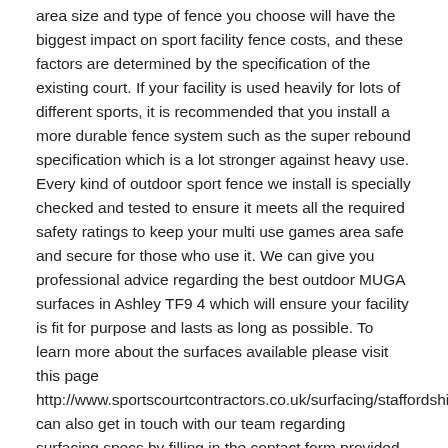area size and type of fence you choose will have the biggest impact on sport facility fence costs, and these factors are determined by the specification of the existing court. If your facility is used heavily for lots of different sports, it is recommended that you install a more durable fence system such as the super rebound specification which is a lot stronger against heavy use. Every kind of outdoor sport fence we install is specially checked and tested to ensure it meets all the required safety ratings to keep your multi use games area safe and secure for those who use it. We can give you professional advice regarding the best outdoor MUGA surfaces in Ashley TF9 4 which will ensure your facility is fit for purpose and lasts as long as possible. To learn more about the surfaces available please visit this page http://www.sportscourtcontractors.co.uk/surfacing/staffordshire/a can also get in touch with our team regarding surfacing specs by filling in the contact form provided.
Sports Fencing Contractors Near Me
We have a number of sports fencing contractors around the United Kingdom who can install various sorts of fences to improve the overall look of your facility. As our fences are domestically produced